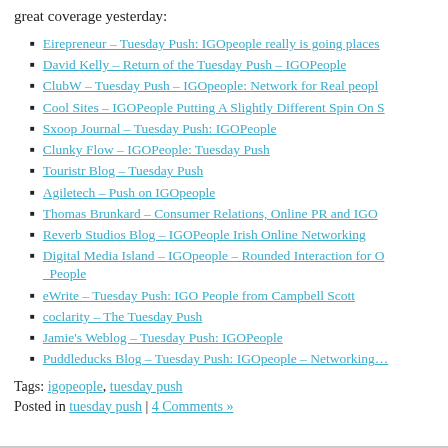great coverage yesterday:
Eirepreneur – Tuesday Push: IGOpeople really is going places
David Kelly – Return of the Tuesday Push – IGOPeople
ClubW – Tuesday Push – IGOpeople: Network for Real peopl…
Cool Sites – IGOPeople Putting A Slightly Different Spin On …
Sxoop Journal – Tuesday Push: IGOPeople
Clunky Flow – IGOPeople: Tuesday Push
Touristr Blog – Tuesday Push
Agiletech – Push on IGOpeople
Thomas Brunkard – Consumer Relations, Online PR and IGO…
Reverb Studios Blog – IGOPeople Irish Online Networking
Digital Media Island – IGOpeople – Rounded Interaction for O… People
eWrite – Tuesday Push: IGO People from Campbell Scott
coclarity – The Tuesday Push
Jamie's Weblog – Tuesday Push: IGOPeople
Puddleducks Blog – Tuesday Push: IGOpeople – Networking…
Tags: igopeople, tuesday push
Posted in tuesday push | 4 Comments »